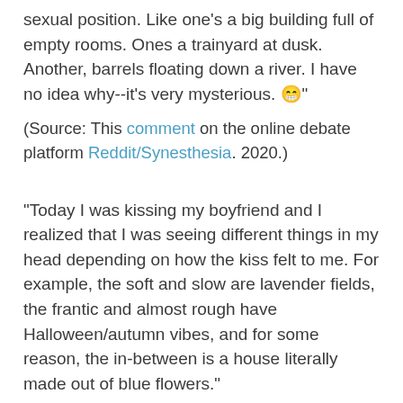sexual position. Like one's a big building full of empty rooms. Ones a trainyard at dusk. Another, barrels floating down a river. I have no idea why--it's very mysterious. 😁"
(Source: This comment on the online debate platform Reddit/Synesthesia. 2020.)
"Today I was kissing my boyfriend and I realized that I was seeing different things in my head depending on how the kiss felt to me. For example, the soft and slow are lavender fields, the frantic and almost rough have Halloween/autumn vibes, and for some reason, the in-between is a house literally made out of blue flowers."
(Source: This post on the online debate platform Reddit/Synesthesia. 2022.)